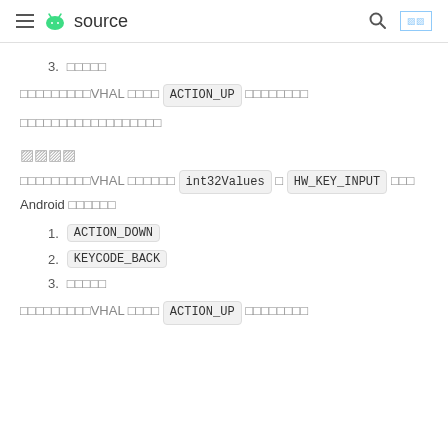≡ [android logo] source  [search] [lang]
3. [garbled text]
[garbled text]VHAL [garbled] ACTION_UP [garbled]
[garbled text]
[garbled/corrupted characters]
[garbled text]VHAL [garbled] int32Values [garbled] HW_KEY_INPUT [garbled] Android [garbled]
1. ACTION_DOWN
2. KEYCODE_BACK
3. [garbled text]
[garbled text]VHAL [garbled] ACTION_UP [garbled]